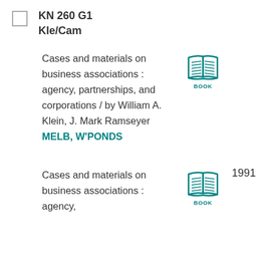KN 260 G1
Kle/Cam
Cases and materials on business associations : agency, partnerships, and corporations / by William A. Klein, J. Mark Ramseyer
MELB, W'PONDS
[Figure (illustration): Open book icon with teal/green color and label BOOK]
1991
Cases and materials on business associations : agency,
[Figure (illustration): Open book icon with teal/green color and label BOOK]